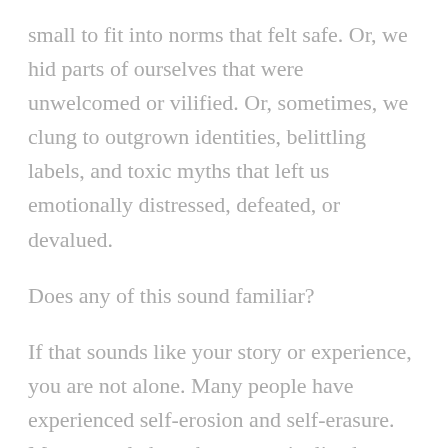small to fit into norms that felt safe. Or, we hid parts of ourselves that were unwelcomed or vilified. Or, sometimes, we clung to outgrown identities, belittling labels, and toxic myths that left us emotionally distressed, defeated, or devalued.
Does any of this sound familiar?
If that sounds like your story or experience, you are not alone. Many people have experienced self-erosion and self-erasure. Many people have been marginalized or excluded because their needs, feelings, and perspectives existed outside of a narrowly-defined “norm.” Many people have